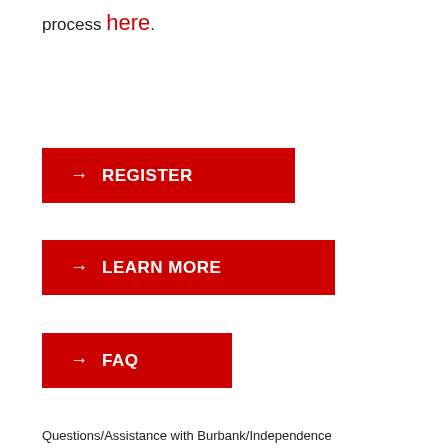process here.
[Figure (other): Red button with arrow and text REGISTER]
[Figure (other): Red button with arrow and text LEARN MORE]
[Figure (other): Red button with arrow and text FAQ]
Questions/Assistance with Burbank/Independence